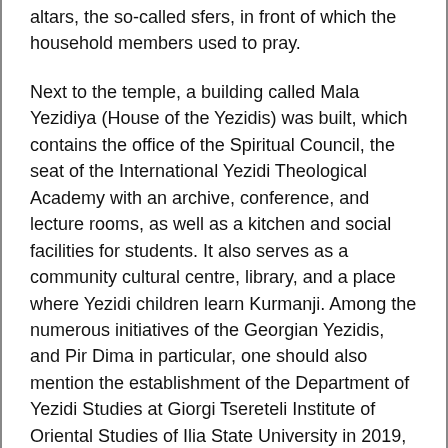altars, the so-called sfers, in front of which the household members used to pray.
Next to the temple, a building called Mala Yezidiya (House of the Yezidis) was built, which contains the office of the Spiritual Council, the seat of the International Yezidi Theological Academy with an archive, conference, and lecture rooms, as well as a kitchen and social facilities for students. It also serves as a community cultural centre, library, and a place where Yezidi children learn Kurmanji. Among the numerous initiatives of the Georgian Yezidis, and Pir Dima in particular, one should also mention the establishment of the Department of Yezidi Studies at Giorgi Tsereteli Institute of Oriental Studies of Ilia State University in 2019, which became the first academic centre for Yezidi studies worldwide.
A particularly interesting initiative of the Georgian Yezidis was the reuse of the ‘Yezidi alphabet’ known from Anastase Marie’s publication. In 2013, Pirbari and Amoev decided to modernise the alphabet and adapt it to the phonetic features of modern Kurmanji. They began to use the script